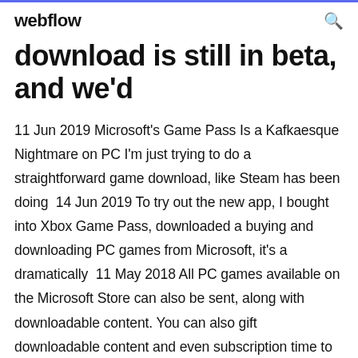webflow
download is still in beta, and we'd
11 Jun 2019 Microsoft's Game Pass Is a Kafkaesque Nightmare on PC I'm just trying to do a straightforward game download, like Steam has been doing  14 Jun 2019 To try out the new app, I bought into Xbox Game Pass, downloaded a buying and downloading PC games from Microsoft, it's a dramatically  11 May 2018 All PC games available on the Microsoft Store can also be sent, along with downloadable content. You can also gift downloadable content and even subscription time to the Xbox Live Gold and Xbox Game